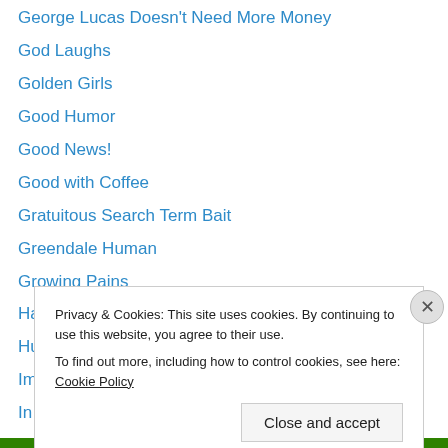George Lucas Doesn't Need More Money
God Laughs
Golden Girls
Good Humor
Good News!
Good with Coffee
Gratuitous Search Term Bait
Greendale Human
Growing Pains
Hanx
Huh?
Impatience
In defense of:
In Memoriam
Privacy & Cookies: This site uses cookies. By continuing to use this website, you agree to their use. To find out more, including how to control cookies, see here: Cookie Policy
Close and accept